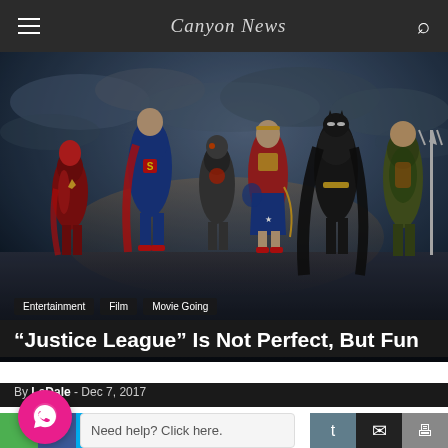Canyon News
[Figure (photo): Justice League promotional photo showing six superheroes (The Flash, Superman, Cyborg, Wonder Woman, Batman, Aquaman) posed dramatically against a dark stormy sky background]
Entertainment   Film   Movie Going
“Justice League” Is Not Perfect, But Fun
By LaDale - Dec 7, 2017
[Figure (other): Social sharing bar with WhatsApp chat bubble, share buttons for various platforms (Facebook, Twitter, Pinterest, etc.), Tumblr, email, and print icons]